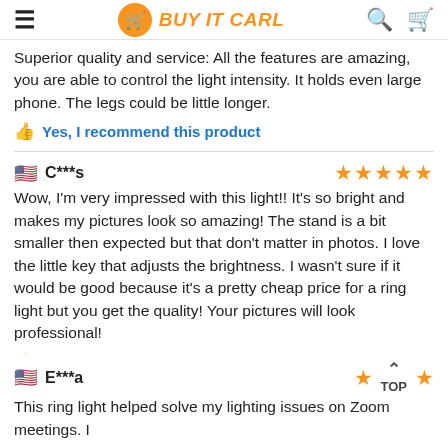BUY IT CARL
Superior quality and service: All the features are amazing, you are able to control the light intensity. It holds even large phone. The legs could be little longer.
Yes, I recommend this product
C***s — 5 stars
Wow, I'm very impressed with this light!! It's so bright and makes my pictures look so amazing! The stand is a bit smaller then expected but that don't matter in photos. I love the little key that adjusts the brightness. I wasn't sure if it would be good because it's a pretty cheap price for a ring light but you get the quality! Your pictures will look professional!
Yes, I recommend this product
E***a — 1 star
This ring light helped solve my lighting issues on Zoom meetings. I